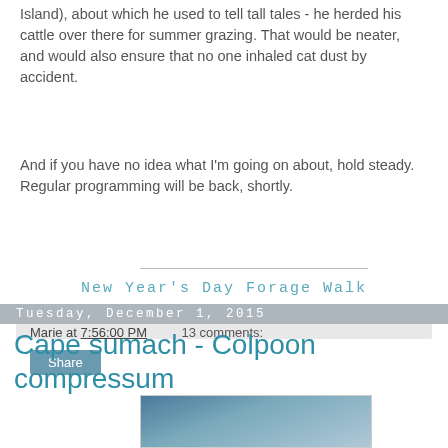Island), about which he used to tell tall tales - he herded his cattle over there for summer grazing. That would be neater, and would also ensure that no one inhaled cat dust by accident.
And if you have no idea what I'm going on about, hold steady. Regular programming will be back, shortly.
New Year's Day Forage Walk
Marie at 7:56:00 PM   13 comments:
Share
Tuesday, December 1, 2015
Cape sumach - Colpoon compressum
[Figure (photo): Partial photo of a plant or nature scene, partially visible at the bottom of the page]